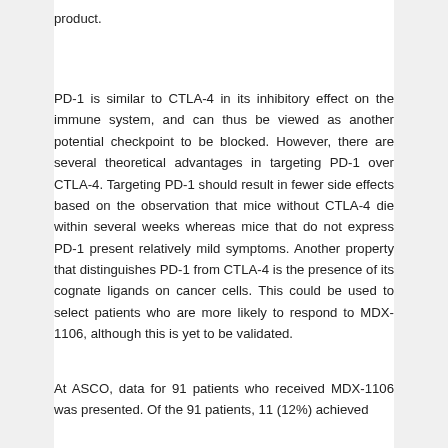product.
PD-1 is similar to CTLA-4 in its inhibitory effect on the immune system, and can thus be viewed as another potential checkpoint to be blocked. However, there are several theoretical advantages in targeting PD-1 over CTLA-4. Targeting PD-1 should result in fewer side effects based on the observation that mice without CTLA-4 die within several weeks whereas mice that do not express PD-1 present relatively mild symptoms. Another property that distinguishes PD-1 from CTLA-4 is the presence of its cognate ligands on cancer cells. This could be used to select patients who are more likely to respond to MDX-1106, although this is yet to be validated.
At ASCO, data for 91 patients who received MDX-1106 was presented. Of the 91 patients, 11 (12%) achieved